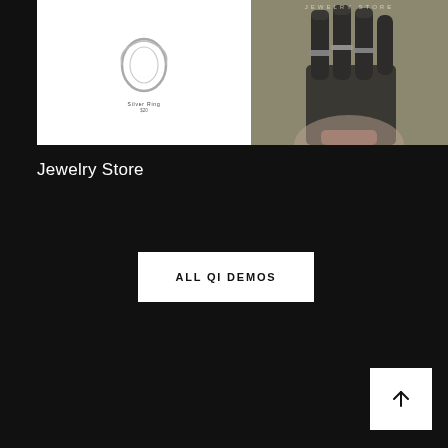[Figure (photo): Left panel: white background with silver ring illustration. Label reads 'Silver Ring' with price below.]
[Figure (photo): Right panel: fashion photo of a hand wearing multiple dark rings/finger armor accessories against muted background.]
Jewelry Store
ALL QI DEMOS
[Figure (other): Back to top arrow button — white square with upward arrow icon in bottom right corner.]